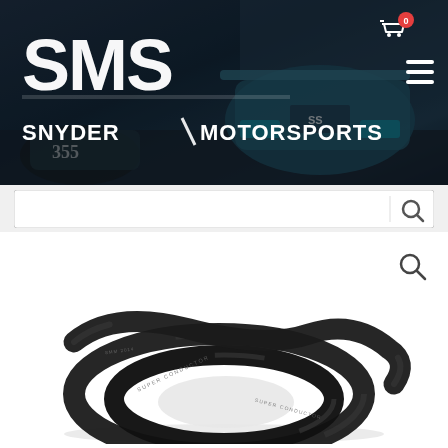[Figure (screenshot): Snyder Motorsports website header with SMS logo over a dark racing car background photo. Includes a shopping cart icon with badge showing '0', and a hamburger menu icon.]
[Figure (screenshot): Search bar below the header with a search (magnifying glass) icon on the right.]
[Figure (photo): Product photo showing a coiled black spark plug wire or ignition cable labeled 'SUPER CONDUCTOR' against a white background. A zoom/magnifying glass icon is in the upper right.]